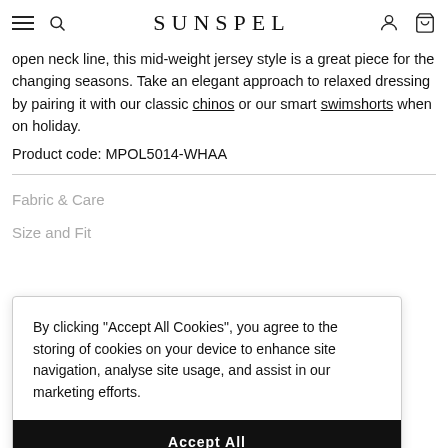SUNSPEL
open neck line, this mid-weight jersey style is a great piece for the changing seasons. Take an elegant approach to relaxed dressing by pairing it with our classic chinos or our smart swimshorts when on holiday.
Product code: MPOL5014-WHAA
Fabric & Care
Size and Fit
By clicking "Accept All Cookies", you agree to the storing of cookies on your device to enhance site navigation, analyse site usage, and assist in our marketing efforts.
Accept All